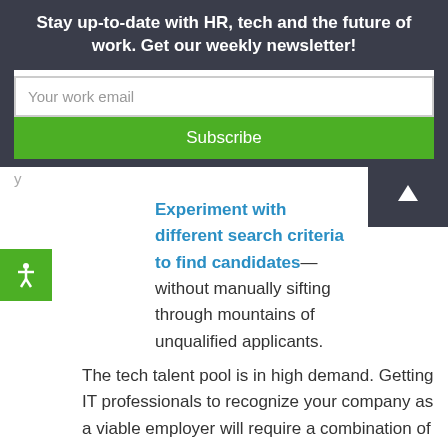Stay up-to-date with HR, tech and the future of work. Get our weekly newsletter!
Your work email
Subscribe
Experiment with different search criteria to find candidates—without manually sifting through mountains of unqualified applicants.
The tech talent pool is in high demand. Getting IT professionals to recognize your company as a viable employer will require a combination of good old-fashioned human relationship-building and utilizing the latest virtual recruiting techniques and data you have at your disposal. By working closely together, CIOs and HR can identify the attributes of their ideal candidates, and do whatever it takes to bring them aboard.